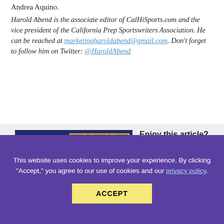Andrea Aquino.
Harold Abend is the associate editor of CalHiSports.com and the vice president of the California Prep Sportswriters Association. He can be reached at marketingharoldabend@gmail.com. Don't forget to follow him on Twitter: @HaroldAbend
[Figure (illustration): Promotional image with dark blue background showing a basketball court diagram with the text 'EXCLUSIVE CALIFORNIA HIGH SCHOOL' in bold yellow italic letters]
Enjoy this article? Find out how you can get access to more exclusive content, one-of-a-kind
This website uses cookies to improve your experience. By clicking "Accept," you agree to our use of cookies and our privacy policy.